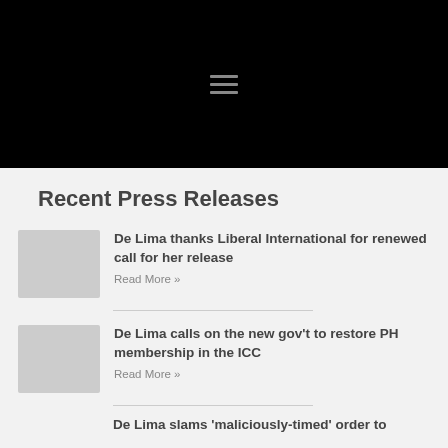[Figure (other): Black header banner with hamburger menu icon in center]
Recent Press Releases
De Lima thanks Liberal International for renewed call for her release
Read More »
De Lima calls on the new gov't to restore PH membership in the ICC
Read More »
De Lima slams 'maliciously-timed' order to